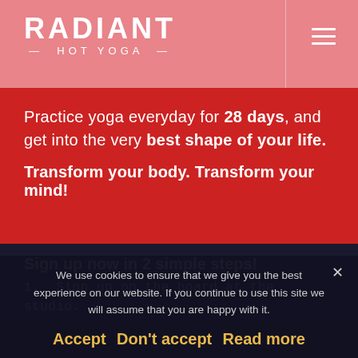RADIANT HOT YOGA
Practice yoga everyday for 28 days, and get into the very best shape of your life.
Transform your body. Transform your mind!
Sign up now in 2 simple steps!
1.  Sign up on the board at the studio.
2.  Be sure to mark the board every time you
We use cookies to ensure that we give you the best experience on our website. If you continue to use this site we will assume that you are happy with it.
Accept  Don't accept  Read more